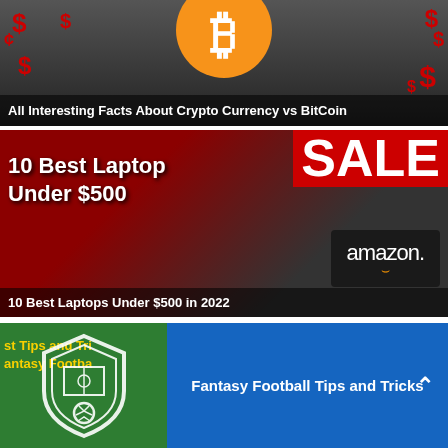[Figure (illustration): Bitcoin/Crypto article thumbnail: dark background with orange Bitcoin circle logo, dollar signs, green 'BitCoin' text at top, caption overlay at bottom]
All Interesting Facts About Crypto Currency vs BitCoin
[Figure (illustration): Laptop article thumbnail: dark/red background with SALE text top right, '10 Best Laptop Under $500' text overlay, Amazon laptop and card visible]
10 Best Laptops Under $500 in 2022
[Figure (illustration): Fantasy Football article: green left panel with shield logo and 'Best Tips and Tricks Fantasy Football' text, blue right panel with title and chevron]
Fantasy Football Tips and Tricks